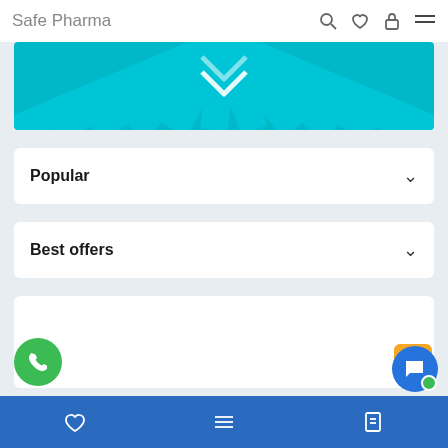Safe Pharma
[Figure (illustration): Teal/cyan radial ray burst banner with a white chevron/heart icon in the center, pharmacy app promotional banner]
Popular
Best offers
[Figure (screenshot): Empty white content card area below Best offers section]
Bottom navigation bar with heart, menu, and account icons on blue background